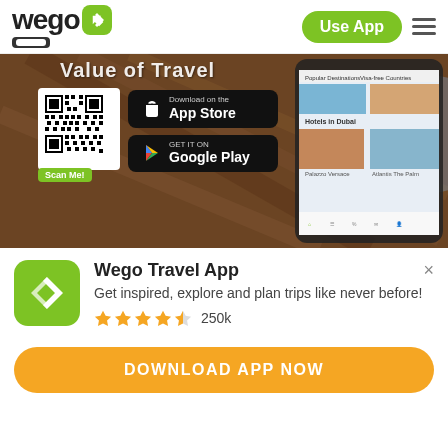[Figure (logo): Wego logo with airplane icon and green 'Use App' button and hamburger menu in header]
[Figure (screenshot): Wego travel app promotional banner showing QR code, App Store and Google Play download buttons, and a phone mockup with the app interface. Text 'Value of Travel' partially visible at top. 'Scan Me!' label under QR code.]
Wego Travel App
Get inspired, explore and plan trips like never before!
★★★★½ 250k
DOWNLOAD APP NOW